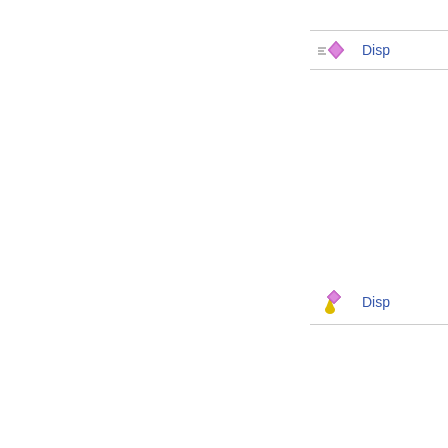[Figure (screenshot): Two-column UI layout. Left panel is empty white space with a vertical divider. Right panel shows two rows, each with a small icon (purple diamond with motion lines or yellow/purple pin icon) and a truncated blue link text 'Disp...' Both rows are separated by a horizontal line.]
Disp...
Disp...